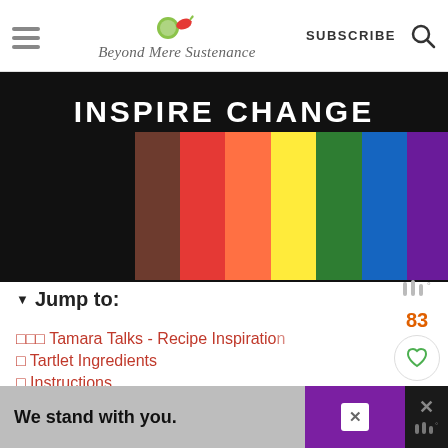Beyond Mere Sustenance — SUBSCRIBE
[Figure (illustration): Black background with INSPIRE CHANGE text and horizontal rainbow pride flag stripes (brown, red, orange, yellow, green, blue, purple)]
▼ Jump to:
🍽🍽🍽 Tamara Talks - Recipe Inspiration
🍽 Tartlet Ingredients
🍽 Instructions
🍽 Tips
[Figure (screenshot): We stand with you. advertisement banner at bottom of page with close buttons]